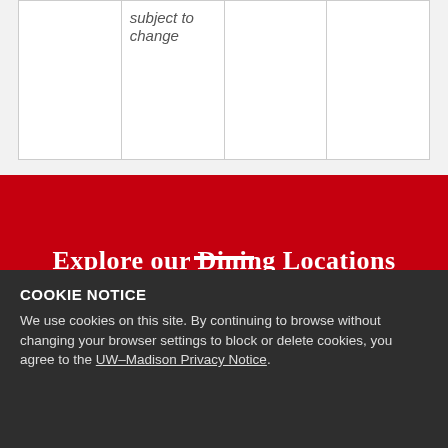|  | subject to change |  |  |
Explore our Dining Locations
COOKIE NOTICE
We use cookies on this site. By continuing to browse without changing your browser settings to block or delete cookies, you agree to the UW–Madison Privacy Notice.
GOT IT!